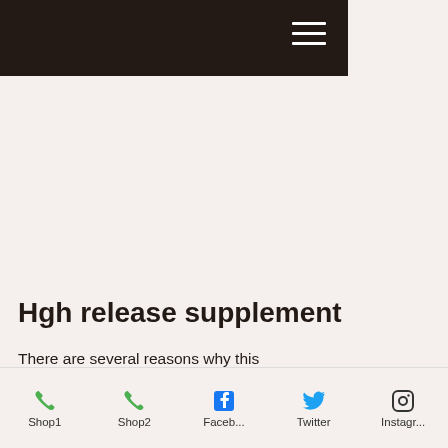Navigation bar with hamburger menu
Hgh release supplement
There are several reasons why this supplement is still used as a staple on mass cycles and stacks, even more than 4 decades after its release to the world and steroid community: 2) The lack of evidence, which has to do with the fact that both the
Shop1  Shop2  Faceb...  Twitter  Instagr...